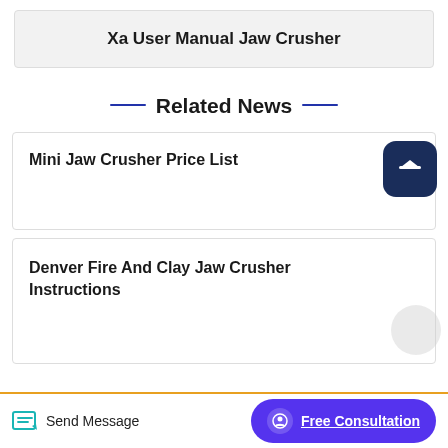Xa User Manual Jaw Crusher
Related News
Mini Jaw Crusher Price List
Denver Fire And Clay Jaw Crusher Instructions
Send Message  Free Consultation